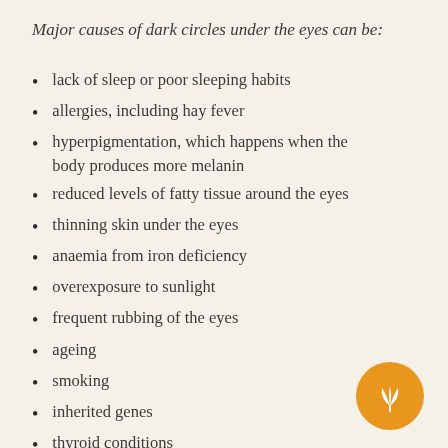Major causes of dark circles under the eyes can be:
lack of sleep or poor sleeping habits
allergies, including hay fever
hyperpigmentation, which happens when the body produces more melanin
reduced levels of fatty tissue around the eyes
thinning skin under the eyes
anaemia from iron deficiency
overexposure to sunlight
frequent rubbing of the eyes
ageing
smoking
inherited genes
thyroid conditions
dehydration
[Figure (logo): Circular orange logo with stylized leaf/plant icon in white]